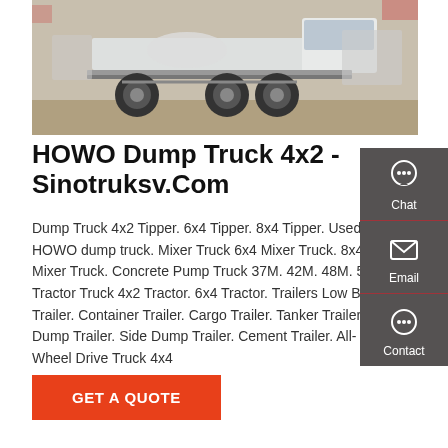[Figure (photo): Photo of HOWO dump truck chassis parked in a lot, white cab visible on the right, side profile showing large wheels and frame.]
HOWO Dump Truck 4x2 - Sinotruksv.Com
Dump Truck 4x2 Tipper. 6x4 Tipper. 8x4 Tipper. Used HOWO dump truck. Mixer Truck 6x4 Mixer Truck. 8x4 Mixer Truck. Concrete Pump Truck 37M. 42M. 48M. 52M. Tractor Truck 4x2 Tractor. 6x4 Tractor. Trailers Low Bed Trailer. Container Trailer. Cargo Trailer. Tanker Trailer. Dump Trailer. Side Dump Trailer. Cement Trailer. All-Wheel Drive Truck 4x4
GET A QUOTE